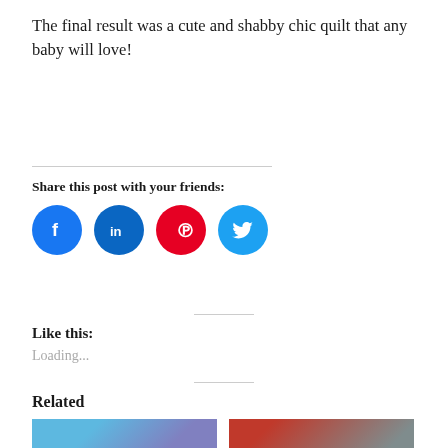The final result was a cute and shabby chic quilt that any baby will love!
Share this post with your friends:
[Figure (infographic): Social sharing icons: Facebook (blue circle), LinkedIn (blue circle), Pinterest (red circle), Twitter (light blue circle)]
Like this:
Loading...
Related
[Figure (photo): Related post image showing a whale-themed quilt with blue background]
[Figure (photo): Related post image showing a red-bordered patterned quilt hung outdoors]